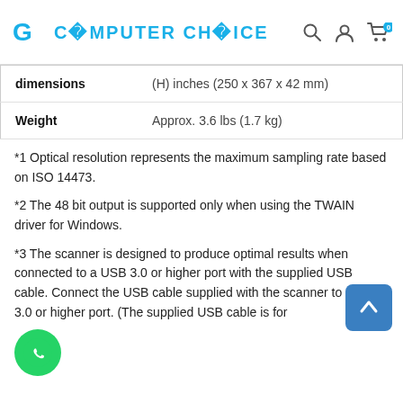COMPUTER CHOICE
|  |  |
| --- | --- |
| dimensions | (H) inches (250 x 367 x 42 mm) |
| Weight | Approx. 3.6 lbs (1.7 kg) |
*1 Optical resolution represents the maximum sampling rate based on ISO 14473.
*2 The 48 bit output is supported only when using the TWAIN driver for Windows.
*3 The scanner is designed to produce optimal results when connected to a USB 3.0 or higher port with the supplied USB cable. Connect the USB cable supplied with the scanner to a USB 3.0 or higher port. (The supplied USB cable is for the scanner only.) It cannot be used for other